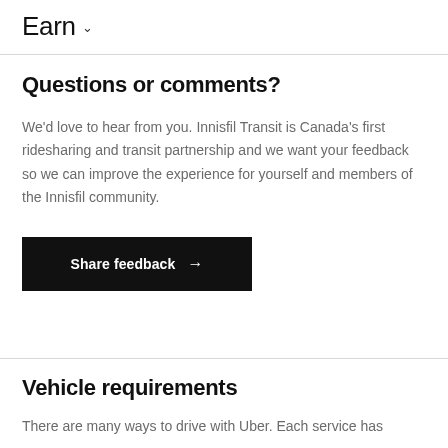Earn
Questions or comments?
We'd love to hear from you. Innisfil Transit is Canada's first ridesharing and transit partnership and we want your feedback so we can improve the experience for yourself and members of the Innisfil community.
Share feedback →
Vehicle requirements
There are many ways to drive with Uber. Each service has